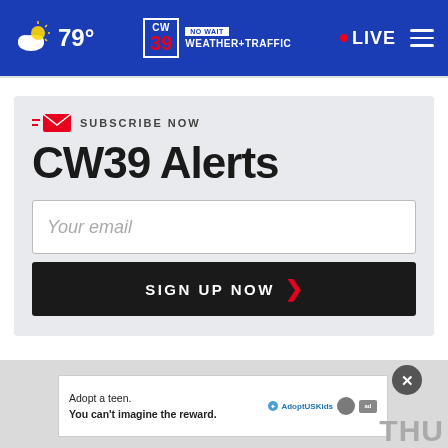CW39 Houston | 79° | NO WAIT WEATHER+TRAFFIC | LIVE
SUBSCRIBE NOW
CW39 Alerts
Your email
SIGN UP NOW
[Figure (screenshot): Advertisement: Adopt a teen. You can't imagine the reward. AdoptUSKids logo.]
Adopt a teen. You can't imagine the reward.